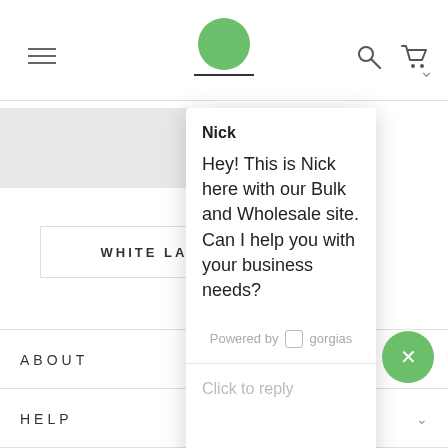[Figure (screenshot): Website navigation bar with hamburger menu icon on the left, green circular avatar with underline in the center, and search and cart icons on the right]
WHITE LABE
Nick
Hey! This is Nick here with our Bulk and Wholesale site. Can I help you with your business needs?
Powered by gorgias
Click to reply
ABOUT
HELP